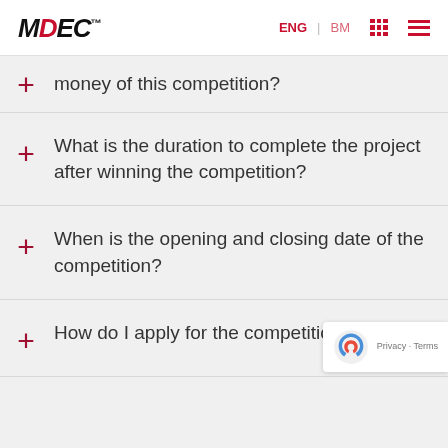MDEC | ENG | BM
money of this competition?
What is the duration to complete the project after winning the competition?
When is the opening and closing date of the competition?
How do I apply for the competition?